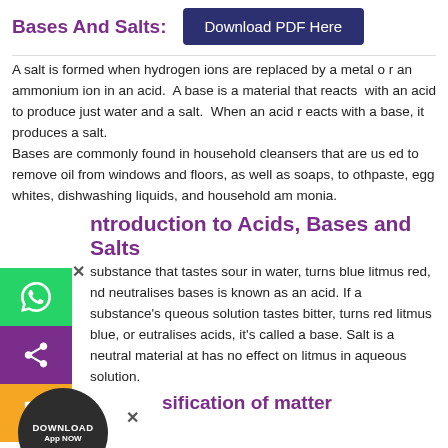Bases And Salts:
A salt is formed when hydrogen ions are replaced by a metal or an ammonium ion in an acid. A base is a material that reacts with an acid to produce just water and a salt. When an acid reacts with a base, it produces a salt. Bases are commonly found in household cleansers that are used to remove oil from windows and floors, as well as soaps, toothpaste, egg whites, dishwashing liquids, and household ammonia.
Introduction to Acids, Bases and Salts
A substance that tastes sour in water, turns blue litmus red, and neutralises bases is known as an acid. If a substance's aqueous solution tastes bitter, turns red litmus blue, or neutralises acids, it's called a base. Salt is a neutral material that has no effect on litmus in aqueous solution.
Classification of matter
On the basis of